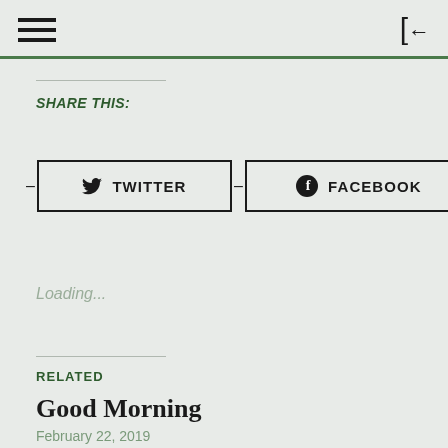hamburger menu | login icon
SHARE THIS:
[Figure (other): Twitter share button with bird icon]
[Figure (other): Facebook share button with f icon]
Loading...
RELATED
Good Morning
February 22, 2019
In "Reflections"